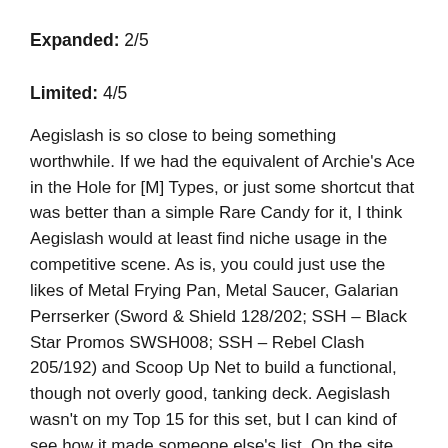Expanded: 2/5
Limited: 4/5
Aegislash is so close to being something worthwhile.  If we had the equivalent of Archie's Ace in the Hole for [M] Types, or just some shortcut that was better than a simple Rare Candy for it, I think Aegislash would at least find niche usage in the competitive scene.  As is, you could just use the likes of Metal Frying Pan, Metal Saucer, Galarian Perrserker (Sword & Shield 128/202; SSH – Black Star Promos SWSH008; SSH – Rebel Clash 205/192) and Scoop Up Net to build a functional, though not overly good, tanking deck.  Aegislash wasn't on my Top 15 for this set, but I can kind of see how it made someone else's list.  On the site list, it would have been in 18th-place.